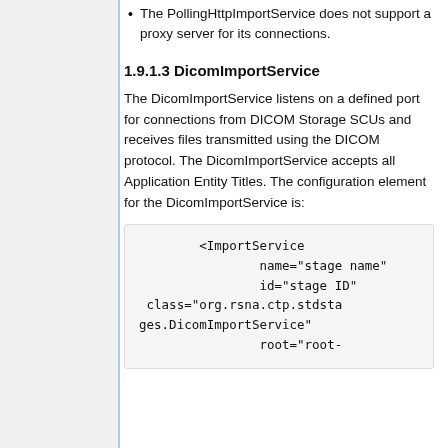The PollingHttpImportService does not support a proxy server for its connections.
1.9.1.3 DicomImportService
The DicomImportService listens on a defined port for connections from DICOM Storage SCUs and receives files transmitted using the DICOM protocol. The DicomImportService accepts all Application Entity Titles. The configuration element for the DicomImportService is:
<ImportService
                name="stage name"
                id="stage ID"
 class="org.rsna.ctp.stdstages.DicomImportService"
                root="root-